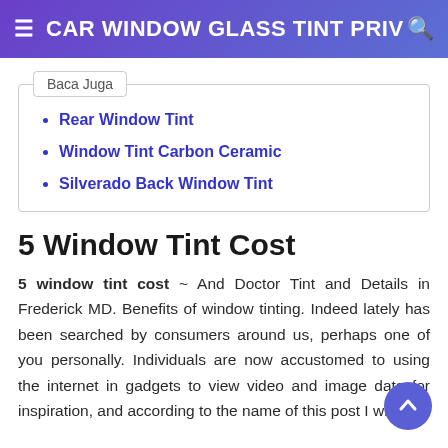CAR WINDOW GLASS TINT PRIV
Baca Juga
Rear Window Tint
Window Tint Carbon Ceramic
Silverado Back Window Tint
5 Window Tint Cost
5 window tint cost ~ And Doctor Tint and Details in Frederick MD. Benefits of window tinting. Indeed lately has been searched by consumers around us, perhaps one of you personally. Individuals are now accustomed to using the internet in gadgets to view video and image data for inspiration, and according to the name of this post I will